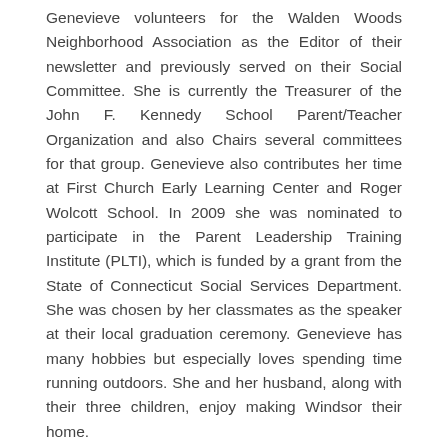Genevieve volunteers for the Walden Woods Neighborhood Association as the Editor of their newsletter and previously served on their Social Committee. She is currently the Treasurer of the John F. Kennedy School Parent/Teacher Organization and also Chairs several committees for that group. Genevieve also contributes her time at First Church Early Learning Center and Roger Wolcott School. In 2009 she was nominated to participate in the Parent Leadership Training Institute (PLTI), which is funded by a grant from the State of Connecticut Social Services Department. She was chosen by her classmates as the speaker at their local graduation ceremony. Genevieve has many hobbies but especially loves spending time running outdoors. She and her husband, along with their three children, enjoy making Windsor their home.
2011 Judges
Benjamin Albert possesses a unique background that combines law, business, medicine, and volunteer expertise. Initially trained